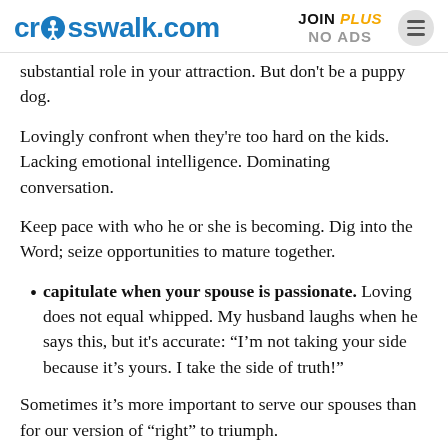crosswalk.com | JOIN PLUS NO ADS
substantial role in your attraction. But don't be a puppy dog.
Lovingly confront when they're too hard on the kids. Lacking emotional intelligence. Dominating conversation.
Keep pace with who he or she is becoming. Dig into the Word; seize opportunities to mature together.
capitulate when your spouse is passionate. Loving does not equal whipped. My husband laughs when he says this, but it's accurate: “I’m not taking your side because it’s yours. I take the side of truth!”
Sometimes it’s more important to serve our spouses than for our version of “right” to triumph.